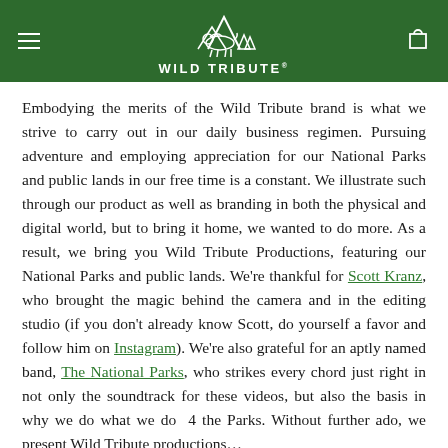[Figure (logo): Wild Tribute logo: white outline of a bison and mountain/trees above the text 'WILD TRIBUTE' on a dark green background header bar]
Embodying the merits of the Wild Tribute brand is what we strive to carry out in our daily business regimen. Pursuing adventure and employing appreciation for our National Parks and public lands in our free time is a constant. We illustrate such through our product as well as branding in both the physical and digital world, but to bring it home, we wanted to do more. As a result, we bring you Wild Tribute Productions, featuring our National Parks and public lands. We're thankful for Scott Kranz, who brought the magic behind the camera and in the editing studio (if you don't already know Scott, do yourself a favor and follow him on Instagram). We're also grateful for an aptly named band, The National Parks, who strikes every chord just right in not only the soundtrack for these videos, but also the basis in why we do what we do  4 the Parks. Without further ado, we present Wild Tribute productions…